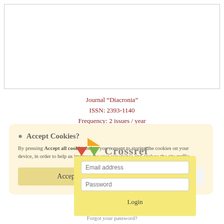[Figure (other): White rectangular image area with light grey border]
Journal “Diacronia”
ISSN: 2393-1140
Frequency: 2 issues / year
[Figure (other): Cookie consent overlay with Accept all cookies and Settings buttons]
[Figure (logo): Crossref logo with coloured triangular shapes and Crossref wordmark]
[Figure (other): Login form overlay with Email address, Password fields and Login button]
Forgot your password?